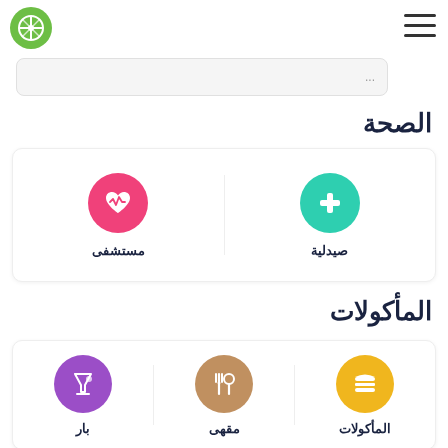[Figure (logo): Green circle logo with map/compass icon]
[Figure (other): Hamburger menu icon (three horizontal lines)]
...
الصحة
[Figure (infographic): Health category cards: مستشفى (hospital) with pink heart-rate icon and صيدلية (pharmacy) with teal plus icon]
المأكولات
[Figure (infographic): Food category cards: بار (bar) with purple cocktail icon, مقهى (cafe) with brown fork-spoon icon, المأكولات (food) with yellow burger icon]